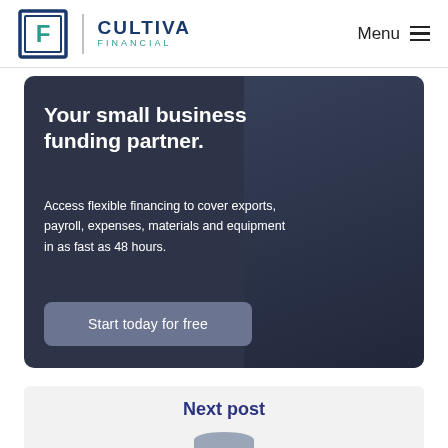CULTIVA FINANCIAL | Menu
Your small business funding partner.
Access flexible financing to cover exports, payroll, expenses, materials and equipment in as fast as 48 hours.
Start today for free
Next post